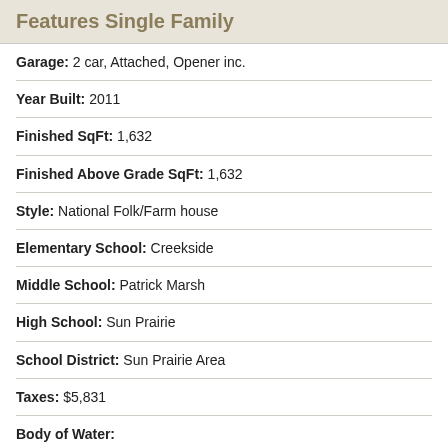Features Single Family
Garage: 2 car, Attached, Opener inc.
Year Built: 2011
Finished SqFt: 1,632
Finished Above Grade SqFt: 1,632
Style: National Folk/Farm house
Elementary School: Creekside
Middle School: Patrick Marsh
High School: Sun Prairie
School District: Sun Prairie Area
Taxes: $5,831
Body of Water:
| Room Type | Room Size |
| --- | --- |